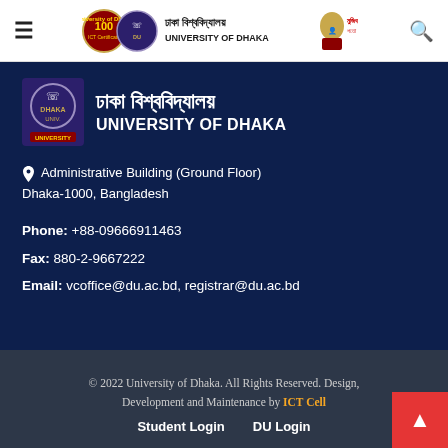University of Dhaka — site header with navigation hamburger, logos, and search icon
[Figure (logo): University of Dhaka logo combination: 100 years emblem, crest, Bengali text ঢাকা বিশ্ববিদ্যালয়, UNIVERSITY OF DHAKA, and portrait illustration]
ঢাকা বিশ্ববিদ্যালয় UNIVERSITY OF DHAKA
Administrative Building (Ground Floor) Dhaka-1000, Bangladesh
Phone: +88-09666911463
Fax: 880-2-9667222
Email: vcoffice@du.ac.bd, registrar@du.ac.bd
© 2022 University of Dhaka. All Rights Reserved. Design, Development and Maintenance by ICT Cell
Student Login   DU Login